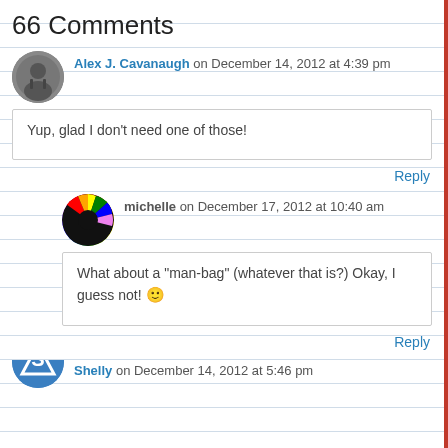66 Comments
Alex J. Cavanaugh on December 14, 2012 at 4:39 pm

Yup, glad I don't need one of those!
Reply
michelle on December 17, 2012 at 10:40 am

What about a "man-bag" (whatever that is?) Okay, I guess not! 🙂
Reply
Shelly on December 14, 2012 at 5:46 pm